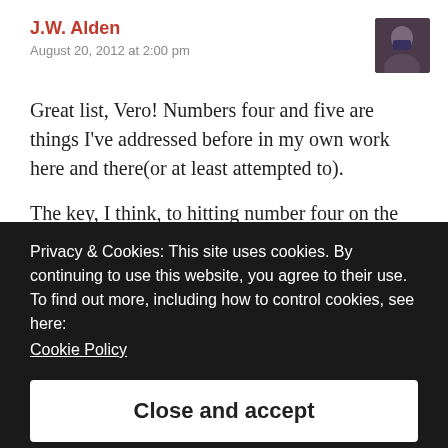J.W. Alden
August 20, 2012 at 2:00 pm
[Figure (photo): Avatar photo of J.W. Alden, a person in dark clothing against a dark background]
Great list, Vero! Numbers four and five are things I've addressed before in my own work here and there(or at least attempted to).
The key, I think, to hitting number four on the head without getting into preachy territory is remembering just what a wide
Privacy & Cookies: This site uses cookies. By continuing to use this website, you agree to their use.
To find out more, including how to control cookies, see here:
Cookie Policy
Close and accept
cultures (especially if you bring aliens into the mix), there is